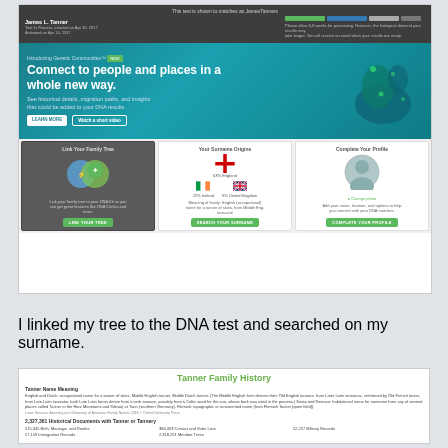[Figure (screenshot): AncestryDNA results page screenshot showing user James L. Tanner's DNA test results, a teal 'Genetic Communities' banner, and three cards: Link Your Family Tree, Your Surname Origins, and Complete Your Profile]
I linked my tree to the DNA test and searched on my surname.
[Figure (screenshot): Tanner Family History page showing Tanner Name Meaning, description of English and Dutch occupational name origin, and 2,327,361 Historical Documents with Tanner or Tannery statistics]